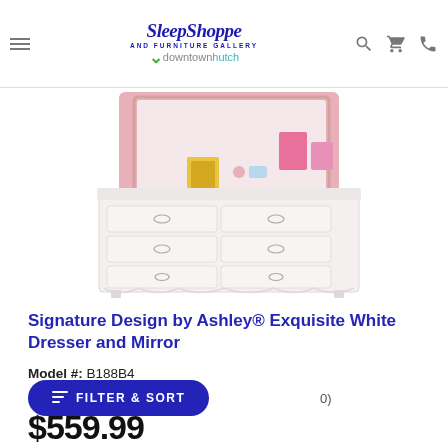Sleep Shoppe and Furniture Gallery — downtownhutch
[Figure (photo): White dresser with mirror, 6 drawers, decorative carved drawer fronts, pink items and a framed photo on top, with pink wall background visible in mirror]
Signature Design by Ashley® Exquisite White Dresser and Mirror
Model #: B188B4
(0)
$559.99
FILTER & SORT